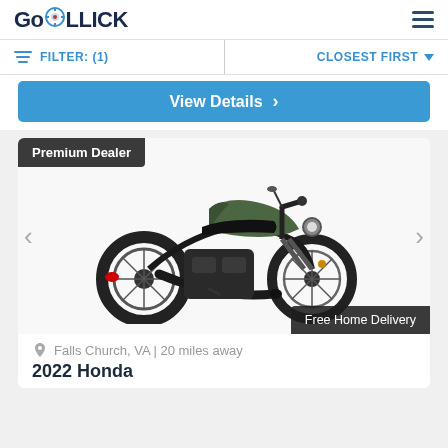GoROLLICK
FILTER: (1)
CLOSEST FIRST
View Details
Premium Dealer
[Figure (photo): Green Honda Rebel cruiser motorcycle on white background]
Free Home Delivery
Falls Church, VA | 20 miles away
2022 Honda